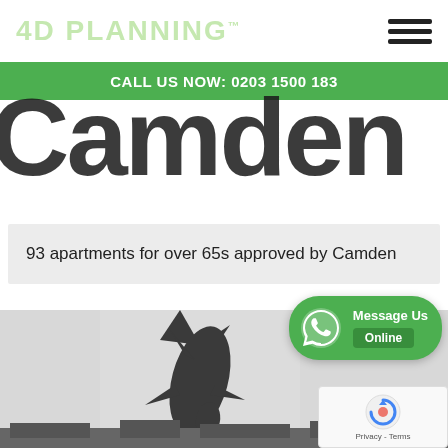4D PLANNING™
CALL US NOW: 0203 1500 183
Camden
93 apartments for over 65s approved by Camden
[Figure (photo): Photo showing a shark sculpture/statue appearing to dive down from the sky, with rooftops visible at the bottom]
Message Us Online
[Figure (other): reCAPTCHA widget with Privacy - Terms text]